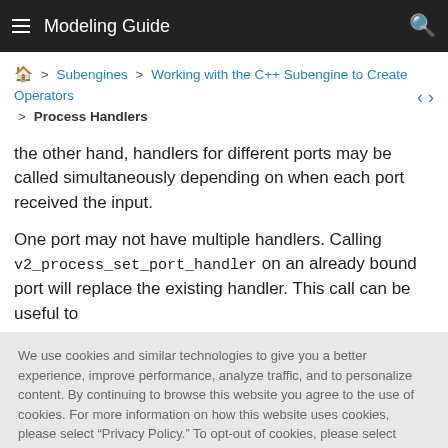Modeling Guide
🏠 > Subengines > Working with the C++ Subengine to Create Operators > Process Handlers
the other hand, handlers for different ports may be called simultaneously depending on when each port received the input.
One port may not have multiple handlers. Calling v2_process_set_port_handler on an already bound port will replace the existing handler. This call can be useful to
We use cookies and similar technologies to give you a better experience, improve performance, analyze traffic, and to personalize content. By continuing to browse this website you agree to the use of cookies. For more information on how this website uses cookies, please select "Privacy Policy." To opt-out of cookies, please select "More Information."
Accept Cookies
More Information
Privacy Policy | Powered by: TrustArc